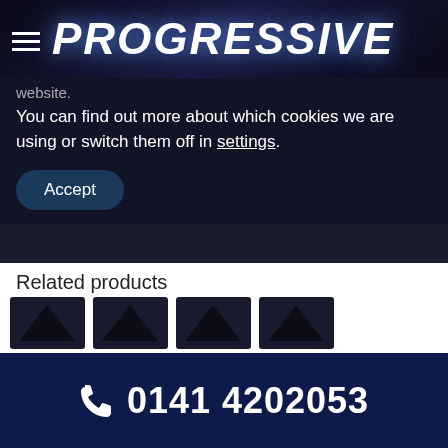PROGRESSIVE
website.
You can find out more about which cookies we are using or switch them off in settings.
Accept
| Day | Hours |
| --- | --- |
| Friday | 9:00 AM - 5:00 PM |
| Saturday | Closed but staff are available on call. |
| Sunday | Closed but staff are available on call. |
Related products
[Figure (other): Product thumbnails row showing dark chevron/arrow product images]
0141 4202053